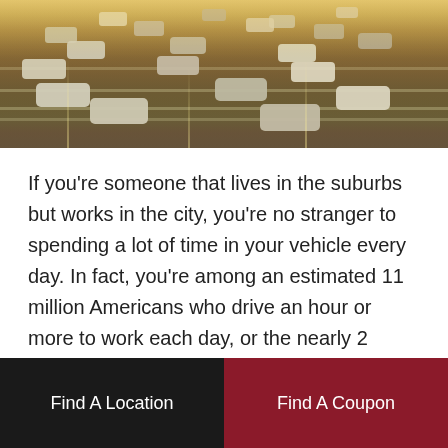[Figure (photo): Aerial view of a multi-lane highway with cars driving in golden/sunset light, taken from an overhead angle showing traffic in both directions.]
If you're someone that lives in the suburbs but works in the city, you're no stranger to spending a lot of time in your vehicle every day. In fact, you're among an estimated 11 million Americans who drive an hour or more to work each day, or the nearly 2 million drive 90 minutes or more. With all of these extra miles being put on your vehicle each week, regular maintenance is all the more important, as it will need to be done more often to prolong the life of your vehicle. Here are some maintenance tasks that
Find A Location
Find A Coupon